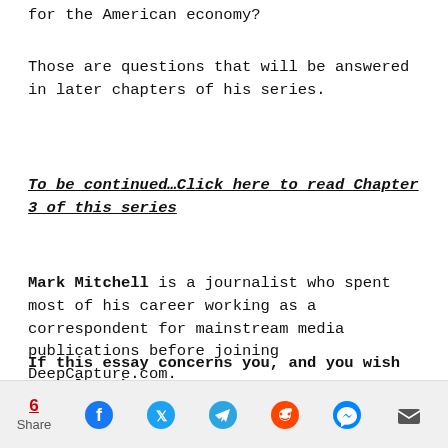for the American economy?
Those are questions that will be answered in later chapters of his series.
To be continued…Click here to read Chapter 3 of this series
Mark Mitchell is a journalist who spent most of his career working as a correspondent for mainstream media publications before joining DeepCapture.com.
If this essay concerns you, and you wish to help, then:
6 Share [social share icons: Facebook, Twitter, Telegram, Reddit, Messenger, Email]